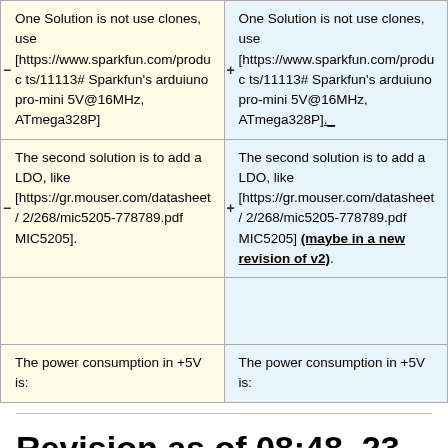| (removed) | (added) |
| --- | --- |
| One Solution is not use clones, use [https://www.sparkfun.com/products/11113# Sparkfun's arduiuno pro-mini 5V@16MHz, ATmega328P] | One Solution is not use clones, use [https://www.sparkfun.com/products/11113# Sparkfun's arduiuno pro-mini 5V@16MHz, ATmega328P]._ |
| The second solution is to add a LDO, like [https://gr.mouser.com/datasheet/2/268/mic5205-778789.pdf MIC5205]. | The second solution is to add a LDO, like [https://gr.mouser.com/datasheet/2/268/mic5205-778789.pdf MIC5205] (maybe in a new revision of v2). |
|  |  |
| The power consumption in +5V is: | The power consumption in +5V is: |
Revision as of 08:48, 23 April 2018
SatNOGS Rotator Controller